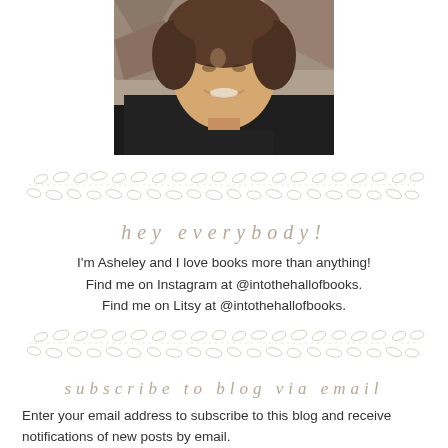[Figure (photo): Portrait photo of a smiling woman with curly hair, outdoors with rocky background, wearing dark clothing]
[Figure (illustration): Decorative divider made of small oval leaf/petal shapes in light gray, arranged in a vine-like pattern]
hey everybody!
I'm Asheley and I love books more than anything! Find me on Instagram at @intothehallofbooks. Find me on Litsy at @intothehallofbooks.
[Figure (illustration): Decorative divider made of small oval leaf/petal shapes in light gray, arranged in a vine-like pattern]
subscribe to blog via email
Enter your email address to subscribe to this blog and receive notifications of new posts by email.